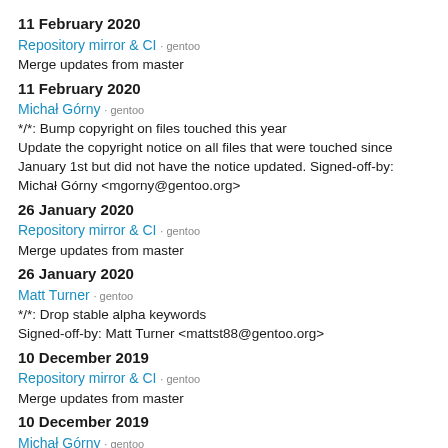11 February 2020
Repository mirror & CI · gentoo
Merge updates from master
11 February 2020
Michał Górny · gentoo
*/*: Bump copyright on files touched this year
Update the copyright notice on all files that were touched since January 1st but did not have the notice updated. Signed-off-by: Michał Górny <mgorny@gentoo.org>
26 January 2020
Repository mirror & CI · gentoo
Merge updates from master
26 January 2020
Matt Turner · gentoo
*/*: Drop stable alpha keywords
Signed-off-by: Matt Turner <mattst88@gentoo.org>
10 December 2019
Repository mirror & CI · gentoo
Merge updates from master
10 December 2019
Michał Górny · gentoo
*/*: [QA] Fix trivial cases of MissingTestRestrict